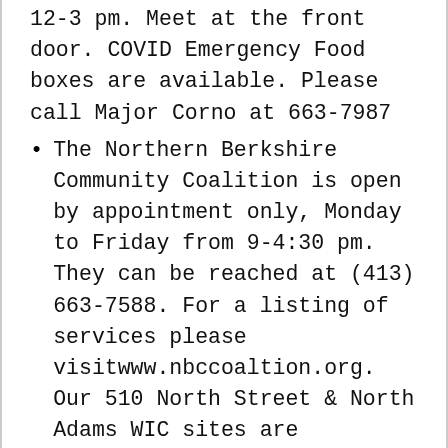12-3 pm. Meet at the front door. COVID Emergency Food boxes are available. Please call Major Corno at 663-7987
The Northern Berkshire Community Coalition is open by appointment only, Monday to Friday from 9-4:30 pm. They can be reached at (413) 663-7588. For a listing of services please visitwww.nbccoaltion.org.  Our 510 North Street & North Adams WIC sites are currently closed until further notice, but we are serving our Participants over the phone. If you already have an upcoming appointment, we will call you in the near future to help you and to load